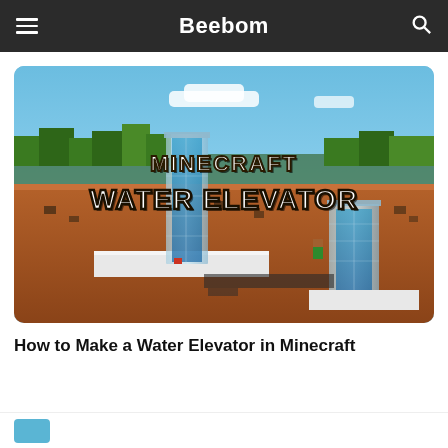Beebom
[Figure (screenshot): Minecraft Water Elevator promotional image showing two glass water elevator towers in a Minecraft world with red dirt terrain and trees. Text overlaid reads 'MINECRAFT WATER ELEVATOR' in Minecraft-style bold font.]
How to Make a Water Elevator in Minecraft